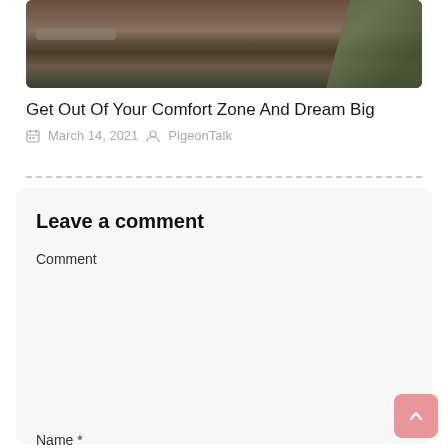[Figure (photo): Close-up photo of an animal (appears to be an elephant) with chains and green leaves/foliage visible in the background]
Get Out Of Your Comfort Zone And Dream Big
March 14, 2021  PigeonTalk
Leave a comment
Comment
Name *